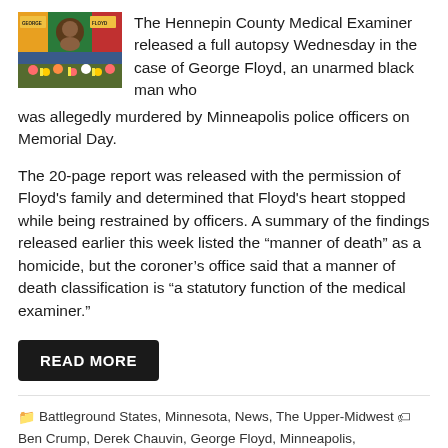[Figure (photo): A colorful George Floyd mural on a wall with flowers and tributes below it.]
The Hennepin County Medical Examiner released a full autopsy Wednesday in the case of George Floyd, an unarmed black man who was allegedly murdered by Minneapolis police officers on Memorial Day.
The 20-page report was released with the permission of Floyd's family and determined that Floyd's heart stopped while being restrained by officers. A summary of the findings released earlier this week listed the “manner of death” as a homicide, but the coroner’s office said that a manner of death classification is “a statutory function of the medical examiner.”
READ MORE
Battleground States, Minnesota, News, The Upper-Midwest • Ben Crump, Derek Chauvin, George Floyd, Minneapolis, Minneapolis Police Department, Minnesota | Leave a comment